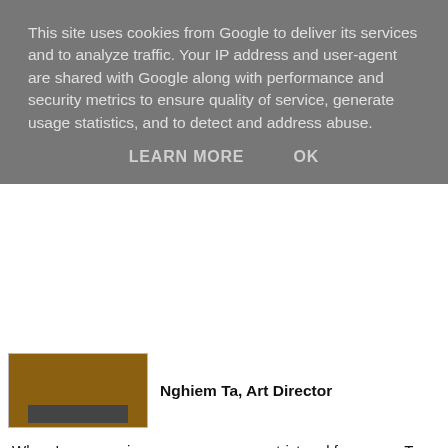This site uses cookies from Google to deliver its services and to analyze traffic. Your IP address and user-agent are shared with Google along with performance and security metrics to ensure quality of service, generate usage statistics, and to detect and address abuse.
LEARN MORE   OK
[Figure (photo): Photo of Nghiem Ta, partially visible, brown wooden background with a dark horizontal bar element]
Nghiem Ta, Art Director
When I was growing up, my mum was strict and fearsome. To us kids, all she did was work and cook... all the little things we took (and take) for granted! Now, as a grown-up, I see my mum as the wonder she is. She's accomplished so much on her own and is such an inspiration to me.
And she still cooks amazing food! Yum!
Isabelle Gamon, Art Director